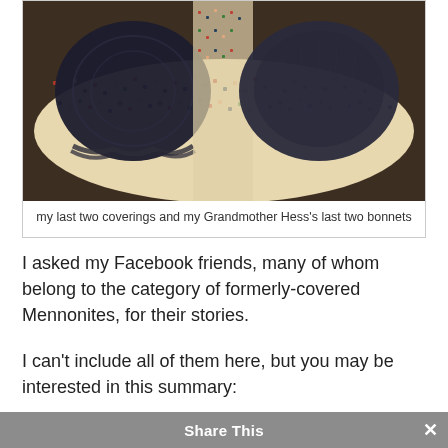[Figure (photo): A top-down photograph of two dark navy/black head coverings (prayer caps) and two dark bonnets arranged on a colorful patterned fabric background with a small geometric/floral print in cream, red, navy, and peach colors.]
my last two coverings and my Grandmother Hess's last two bonnets
I asked my Facebook friends, many of whom belong to the category of formerly-covered Mennonites, for their stories.
I can't include all of them here, but you may be interested in this summary:
21 people responded with stories
two people suggested scholarly articles to consult